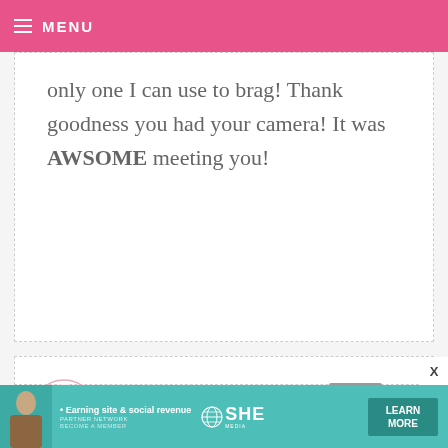MENU
only one I can use to brag! Thank goodness you had your camera! It was AWSOME meeting you!
LIZ — NOVEMBER 6, 2010 @ 4:04 PM REPLY
Bakerella, I want you to know 1 of the reasons I love to check your site is that you always look so adorable! you have great style...love the pink shoes.
[Figure (infographic): SHE Partner Network ad banner with person photo, tagline 'Earning site & social revenue', globe logo, SHE logo, LEARN MORE button]